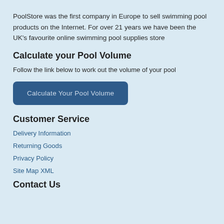PoolStore was the first company in Europe to sell swimming pool products on the Internet. For over 21 years we have been the UK's favourite online swimming pool supplies store
Calculate your Pool Volume
Follow the link below to work out the volume of your pool
Calculate Your Pool Volume
Customer Service
Delivery Information
Returning Goods
Privacy Policy
Site Map XML
Contact Us